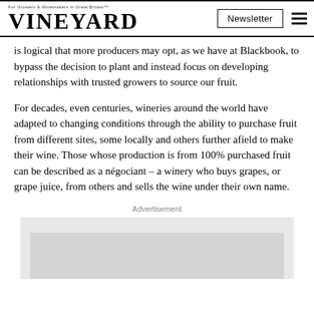VINEYARD | Newsletter
is logical that more producers may opt, as we have at Blackbook, to bypass the decision to plant and instead focus on developing relationships with trusted growers to source our fruit.
For decades, even centuries, wineries around the world have adapted to changing conditions through the ability to purchase fruit from different sites, some locally and others further afield to make their wine. Those whose production is from 100% purchased fruit can be described as a négociant – a winery who buys grapes, or grape juice, from others and sells the wine under their own name.
Advertisement
[Figure (other): Advertisement placeholder box, grey background with lighter grey inner rectangle]